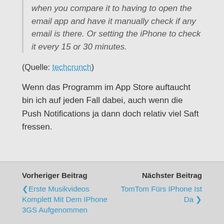when you compare it to having to open the email app and have it manually check if any email is there. Or setting the iPhone to check it every 15 or 30 minutes.
(Quelle: techcrunch)
Wenn das Programm im App Store auftaucht bin ich auf jeden Fall dabei, auch wenn die Push Notifications ja dann doch relativ viel Saft fressen.
Vorheriger Beitrag: Erste Musikvideos Komplett Mit Dem IPhone 3GS Aufgenommen | Nächster Beitrag: TomTom Fürs IPhone Ist Da